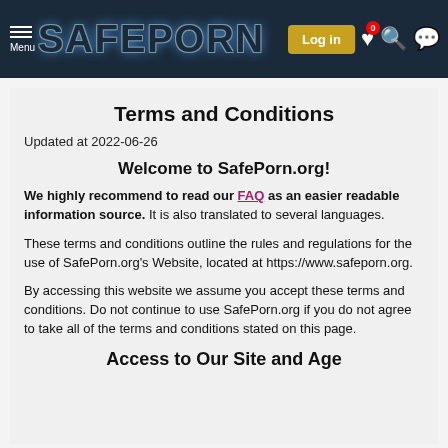SafePorn.org — Menu | Log in | [heart 0] [search] [message]
Terms and Conditions
Updated at 2022-06-26
Welcome to SafePorn.org!
We highly recommend to read our FAQ as an easier readable information source. It is also translated to several languages.
These terms and conditions outline the rules and regulations for the use of SafePorn.org's Website, located at https://www.safeporn.org.
By accessing this website we assume you accept these terms and conditions. Do not continue to use SafePorn.org if you do not agree to take all of the terms and conditions stated on this page.
Access to Our Site and Age